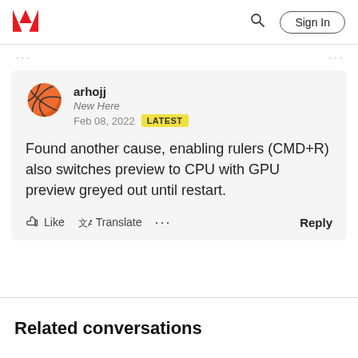Adobe | Sign In
arhojj
New Here
Feb 08, 2022  LATEST

Found another cause, enabling rulers (CMD+R) also switches preview to CPU with GPU preview greyed out until restart.

Like  Translate  ...  Reply
Related conversations